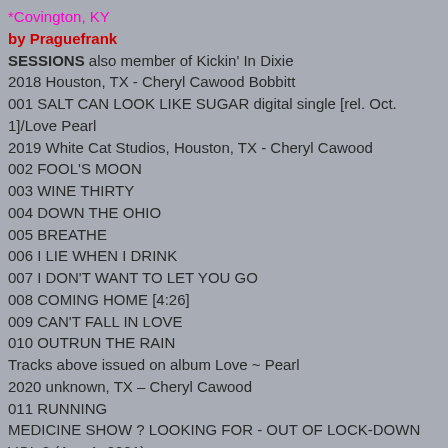*Covington, KY
by Praguefrank
SESSIONS  also member of Kickin' In Dixie
2018 Houston, TX - Cheryl Cawood Bobbitt
001 SALT CAN LOOK LIKE SUGAR digital single [rel. Oct. 1]/Love Pearl
2019 White Cat Studios, Houston, TX - Cheryl Cawood
002 FOOL'S MOON
003 WINE THIRTY
004 DOWN THE OHIO
005 BREATHE
006 I LIE WHEN I DRINK
007 I DON'T WANT TO LET YOU GO
008 COMING HOME [4:26]
009 CAN'T FALL IN LOVE
010 OUTRUN THE RAIN
Tracks above issued on album Love ~ Pearl
2020 unknown, TX – Cheryl Cawood
011 RUNNING
MEDICINE SHOW ? LOOKING FOR - OUT OF LOCK-DOWN VOL 2 (Apr. 1, 2021)